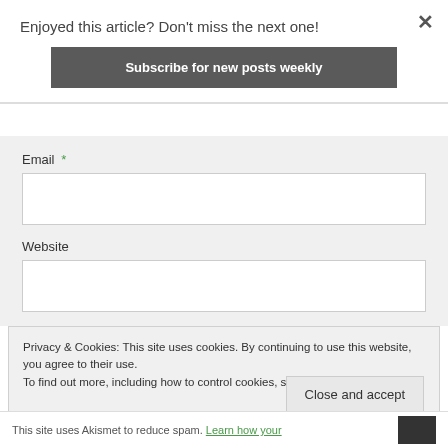Enjoyed this article? Don't miss the next one!
Subscribe for new posts weekly
Email *
Website
Privacy & Cookies: This site uses cookies. By continuing to use this website, you agree to their use.
To find out more, including how to control cookies, see here: Cookie Policy
Close and accept
This site uses Akismet to reduce spam. Learn how your...